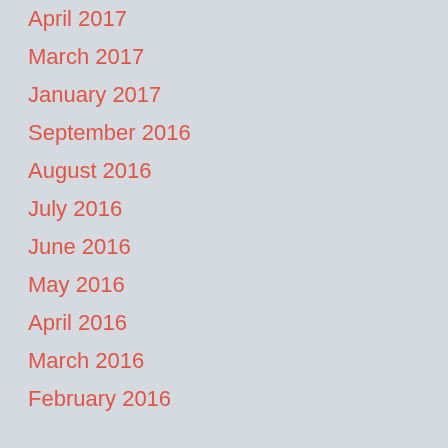April 2017
March 2017
January 2017
September 2016
August 2016
July 2016
June 2016
May 2016
April 2016
March 2016
February 2016